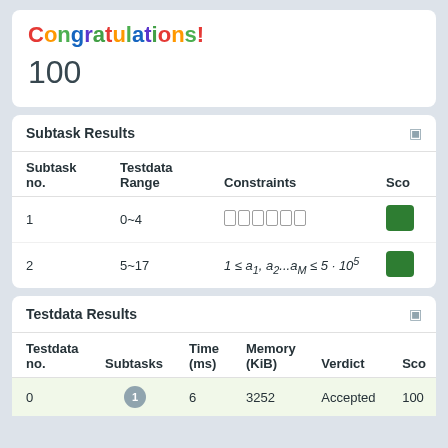Congratulations!
100
Subtask Results
| Subtask no. | Testdata Range | Constraints | Score |
| --- | --- | --- | --- |
| 1 | 0~4 | □□□□□□ |  |
| 2 | 5~17 | 1 ≤ a1, a2...aM ≤ 5·10^5 |  |
Testdata Results
| Testdata no. | Subtasks | Time (ms) | Memory (KiB) | Verdict | Score |
| --- | --- | --- | --- | --- | --- |
| 0 | 1 | 6 | 3252 | Accepted | 100 |